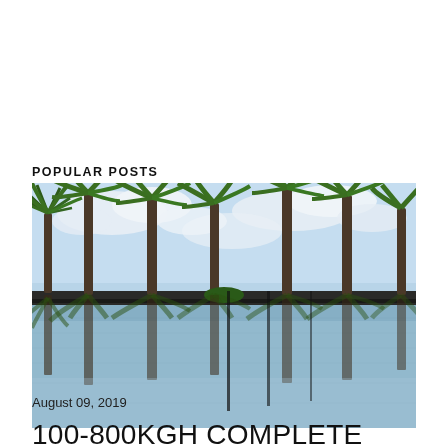POPULAR POSTS
[Figure (photo): Tropical beach scene with tall palm trees reflected in a calm infinity pool or still water surface. Blue sky with white clouds above. The reflection creates a mirror image of the palms in the water below.]
August 09, 2019
100-800KGH COMPLETE PLASTIC